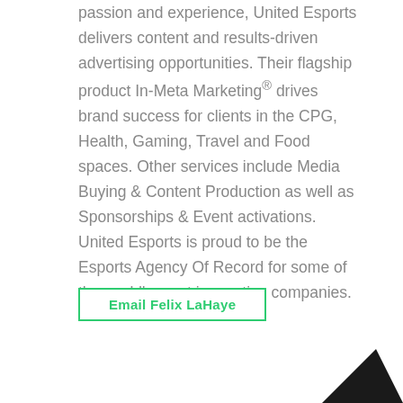passion and experience, United Esports delivers content and results-driven advertising opportunities. Their flagship product In-Meta Marketing® drives brand success for clients in the CPG, Health, Gaming, Travel and Food spaces. Other services include Media Buying & Content Production as well as Sponsorships & Event activations. United Esports is proud to be the Esports Agency Of Record for some of the world's most innovative companies.
Email Felix LaHaye